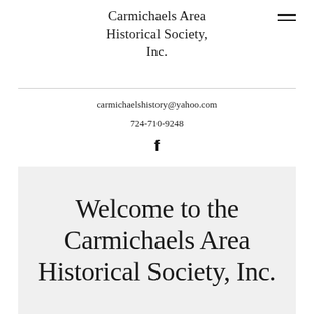Carmichaels Area Historical Society, Inc.
carmichaelshistory@yahoo.com
724-710-9248
[Figure (logo): Facebook 'f' icon]
Welcome to the Carmichaels Area Historical Society, Inc.